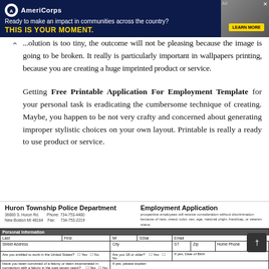[Figure (other): AmeriCorps advertisement banner: dark navy background with AmeriCorps logo and text 'Ready to make an impact in communities across the country? THIS IS YOUR MOMENT.' with a LEARN MORE button, and a photo of people on the right.]
...olution is too tiny, the outcome will not be pleasing because the image is going to be broken. It really is particularly important in wallpapers printing, because you are creating a huge imprinted product or service.
Getting Free Printable Application For Employment Template for your personal task is eradicating the cumbersome technique of creating. Maybe, you happen to be not very crafty and concerned about generating improper stylistic choices on your own layout. Printable is really a ready to use product or service.
[Figure (other): Huron Township Police Department Employment Application form header and beginning of personal information table with fields for Last, First, MI, SStar, Email, Street Address, City, ST, Zip, Home Phone, Mobile Phone, and questions about work eligibility and felony conviction.]